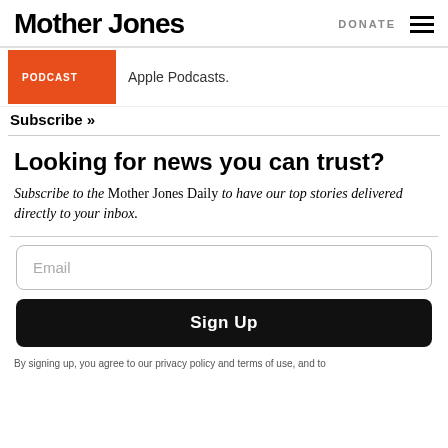Mother Jones | DONATE
Apple Podcasts.
Subscribe »
Looking for news you can trust?
Subscribe to the Mother Jones Daily to have our top stories delivered directly to your inbox.
Email
Sign Up
By signing up, you agree to our privacy policy and terms of use, and to